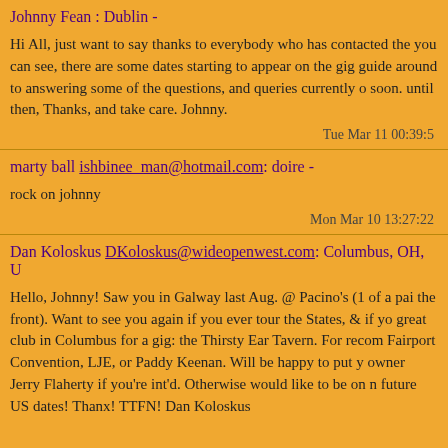Johnny Fean : Dublin -
Hi All, just want to say thanks to everybody who has contacted the you can see, there are some dates starting to appear on the gig guide around to answering some of the questions, and queries currently o soon. until then, Thanks, and take care. Johnny.
Tue Mar 11 00:39:5
marty ball ishbinee_man@hotmail.com: doire -
rock on johnny
Mon Mar 10 13:27:22
Dan Koloskus DKoloskus@wideopenwest.com: Columbus, OH, U
Hello, Johnny! Saw you in Galway last Aug. @ Pacino's (1 of a pai the front). Want to see you again if you ever tour the States, & if yo great club in Columbus for a gig: the Thirsty Ear Tavern. For recom Fairport Convention, LJE, or Paddy Keenan. Will be happy to put y owner Jerry Flaherty if you're int'd. Otherwise would like to be on n future US dates! Thanx! TTFN! Dan Koloskus